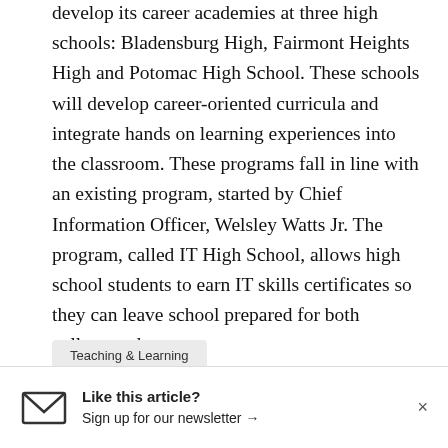develop its career academies at three high schools: Bladensburg High, Fairmont Heights High and Potomac High School. These schools will develop career-oriented curricula and integrate hands on learning experiences into the classroom. These programs fall in line with an existing program, started by Chief Information Officer, Welsley Watts Jr. The program, called IT High School, allows high school students to earn IT skills certificates so they can leave school prepared for both college and career.
Teaching & Learning
Like this article? Sign up for our newsletter →